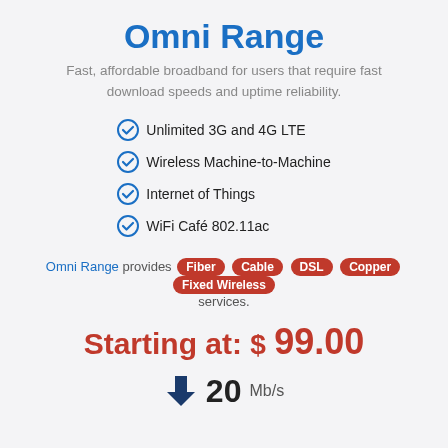Omni Range
Fast, affordable broadband for users that require fast download speeds and uptime reliability.
Unlimited 3G and 4G LTE
Wireless Machine-to-Machine
Internet of Things
WiFi Café 802.11ac
Omni Range provides Fiber Cable DSL Copper Fixed Wireless services.
Starting at: $ 99.00
20 Mb/s